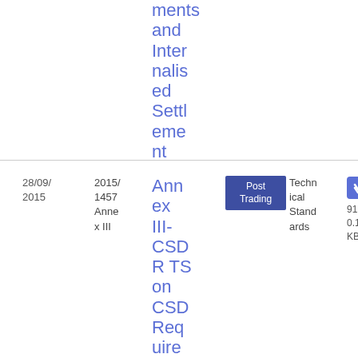ments and Internalised Settlement
| Date | Reference | Title | Topic | Type | File |
| --- | --- | --- | --- | --- | --- |
| 28/09/2015 | 2015/1457 Annex III | Annex III- CSDR TS on CSD Requirements and Inter... | Post Trading | Technical Standards | PDF 91 0.14 KB |